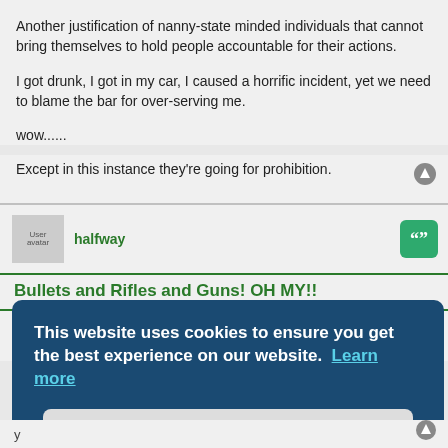Another justification of nanny-state minded individuals that cannot bring themselves to hold people accountable for their actions.

I got drunk, I got in my car, I caused a horrific incident, yet we need to blame the bar for over-serving me.

wow......
Except in this instance they're going for prohibition.
halfway
Bullets and Rifles and Guns! OH MY!!
This website uses cookies to ensure you get the best experience on our website. Learn more
Got it!